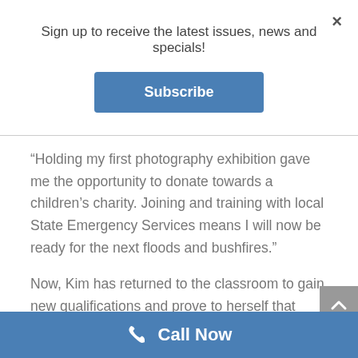×
Sign up to receive the latest issues, news and specials!
Subscribe
“Holding my first photography exhibition gave me the opportunity to donate towards a children’s charity. Joining and training with local State Emergency Services means I will now be ready for the next floods and bushfires.”
Now, Kim has returned to the classroom to gain new qualifications and prove to herself that education truly is a life-long journey.
Call Now